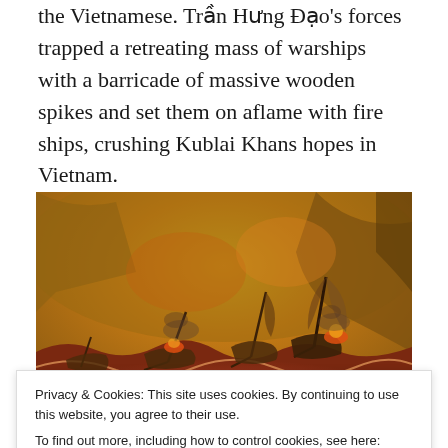the Vietnamese. Trần Hưng Đạo's forces trapped a retreating mass of warships with a barricade of massive wooden spikes and set them on aflame with fire ships, crushing Kublai Khans hopes in Vietnam.
[Figure (illustration): A painting depicting a naval battle scene with burning and sinking warships amid rough orange-brown waves, with dramatic cliffs or smoke in the background. The scene likely depicts the Battle of Bạch Đằng River.]
Privacy & Cookies: This site uses cookies. By continuing to use this website, you agree to their use.
To find out more, including how to control cookies, see here: Cookie Policy
Over seven centuries later, the ancient battle has been